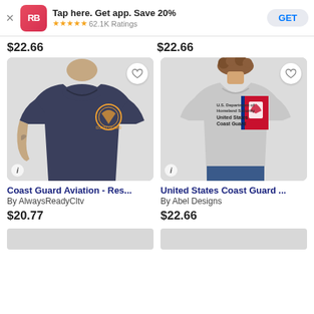Tap here. Get app. Save 20% ★★★★★ 62.1K Ratings GET
$22.66
$22.66
[Figure (photo): Man wearing dark navy t-shirt with Coast Guard Aviation circular logo on chest]
[Figure (photo): Woman wearing grey t-shirt with US Department of Homeland Security United States Coast Guard flag design]
Coast Guard Aviation - Res...
By AlwaysReadyCltv
United States Coast Guard ...
By Abel Designs
$20.77
$22.66